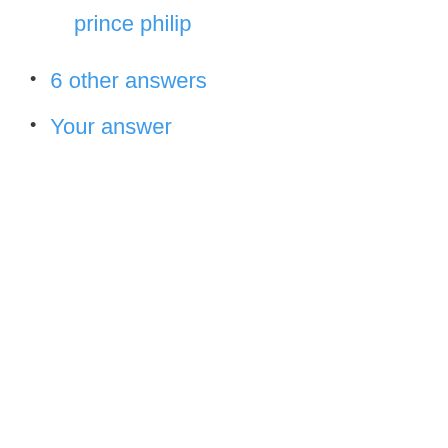prince philip
6 other answers
Your answer